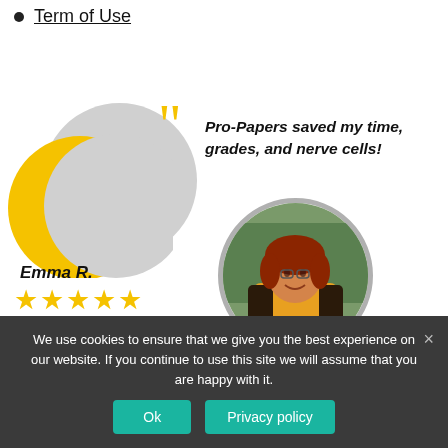Term of Use
[Figure (illustration): Testimonial graphic with yellow decorative blob, gray circle, large yellow quotation marks, and a circular photo of Emma R., a woman with red hair wearing a yellow top, smiling outdoors.]
Pro-Papers saved my time, grades, and nerve cells!
Emma R.
★★★★★
We use cookies to ensure that we give you the best experience on our website. If you continue to use this site we will assume that you are happy with it.
Ok
Privacy policy